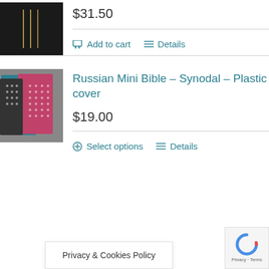[Figure (photo): Black book/Bible with gold stripe design on cover]
$31.50
Add to cart
Details
[Figure (photo): Stacked mini bibles with colorful plastic covers (teal, pink, black)]
Russian Mini Bible – Synodal – Plastic cover
$19.00
Select options
Details
Privacy & Cookies Policy